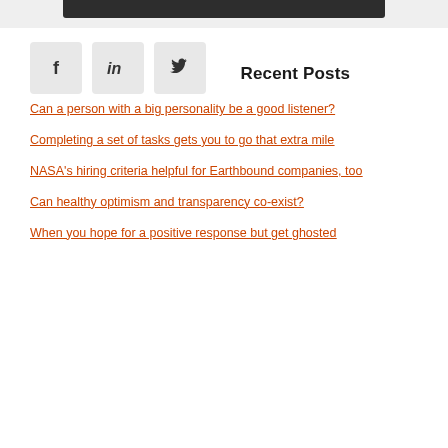[Figure (other): Dark top bar / header element on light gray background]
[Figure (other): Social media share buttons: Facebook (f), LinkedIn (in), Twitter (bird icon)]
Recent Posts
Can a person with a big personality be a good listener?
Completing a set of tasks gets you to go that extra mile
NASA's hiring criteria helpful for Earthbound companies, too
Can healthy optimism and transparency co-exist?
When you hope for a positive response but get ghosted